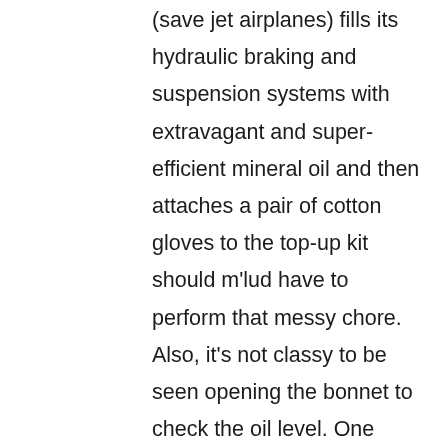(save jet airplanes) fills its hydraulic braking and suspension systems with extravagant and super-efficient mineral oil and then attaches a pair of cotton gloves to the top-up kit should m'lud have to perform that messy chore. Also, it's not classy to be seen opening the bonnet to check the oil level. One simply pushes a dash button, and magically the oil level is displayed on the gas gauge.